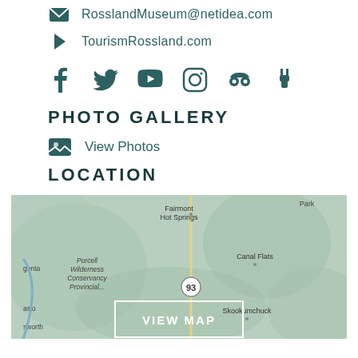RosslandMuseum@netidea.com
TourismRossland.com
[Figure (infographic): Social media icons: Facebook, Twitter, YouTube, Instagram, TripAdvisor, Plugin/Charging]
PHOTO GALLERY
View Photos
LOCATION
[Figure (map): Google map showing Purcell Wilderness Conservancy Provincial Park area with labels: Fairmont Hot Springs, Canal Flats, Purcell Wilderness Conservancy Provincial..., Skookumchuck, and route 93. VIEW MAP button overlay.]